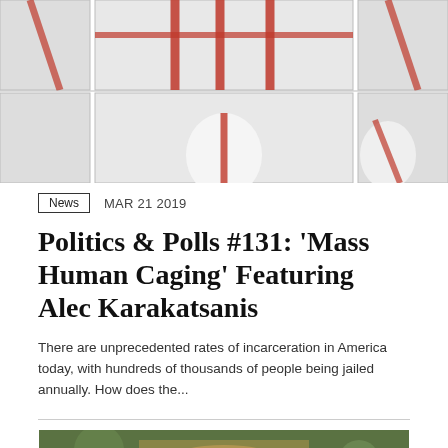[Figure (photo): Grid of art images showing white ceramic or sculptural objects with red painted lines, arranged in two rows of three cells each.]
News   MAR 21 2019
Politics & Polls #131: 'Mass Human Caging' Featuring Alec Karakatsanis
There are unprecedented rates of incarceration in America today, with hundreds of thousands of people being jailed annually. How does the...
[Figure (photo): Partial photo of a person with blond hair, bottom of page.]